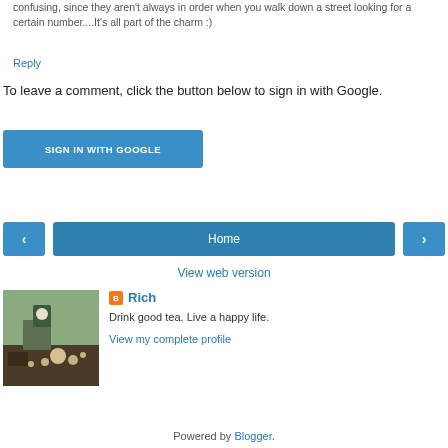confusing, since they aren't always in order when you walk down a street looking for a certain number....It's all part of the charm :)
Reply
To leave a comment, click the button below to sign in with Google.
[Figure (other): Blue button labeled SIGN IN WITH GOOGLE]
[Figure (other): Navigation bar with left arrow button, Home button, and right arrow button]
View web version
[Figure (photo): Tea table with teapot and cups, green background]
Rich
Drink good tea. Live a happy life.
View my complete profile
Powered by Blogger.